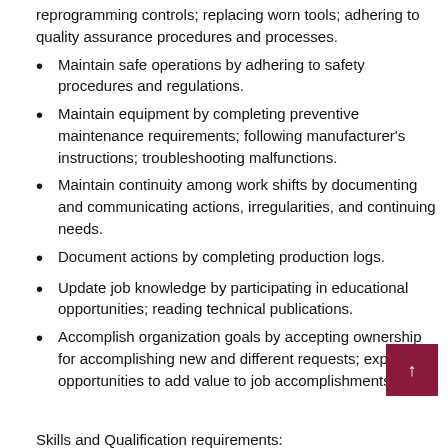reprogramming controls; replacing worn tools; adhering to quality assurance procedures and processes.
Maintain safe operations by adhering to safety procedures and regulations.
Maintain equipment by completing preventive maintenance requirements; following manufacturer's instructions; troubleshooting malfunctions.
Maintain continuity among work shifts by documenting and communicating actions, irregularities, and continuing needs.
Document actions by completing production logs.
Update job knowledge by participating in educational opportunities; reading technical publications.
Accomplish organization goals by accepting ownership for accomplishing new and different requests; exploring opportunities to add value to job accomplishments.
Skills and Qualification requirements: